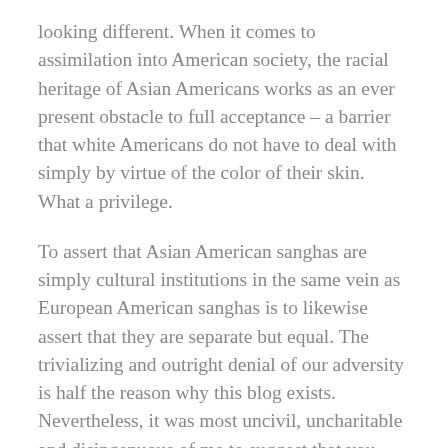looking different. When it comes to assimilation into American society, the racial heritage of Asian Americans works as an ever present obstacle to full acceptance – a barrier that white Americans do not have to deal with simply by virtue of the color of their skin. What a privilege.
To assert that Asian American sanghas are simply cultural institutions in the same vein as European American sanghas is to likewise assert that they are separate but equal. The trivializing and outright denial of our adversity is half the reason why this blog exists. Nevertheless, it was most uncivil, uncharitable and disingenuous of me to suggest that you were promoting racial segregation, as I unambiguously did in my indignant “white country club” line. My apologies.